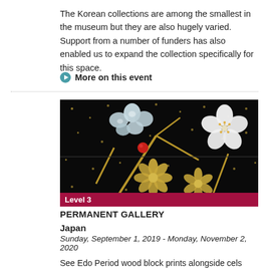The Korean collections are among the smallest in the museum but they are also hugely varied. Support from a number of funders has also enabled us to expand the collection specifically for this space.
More on this event
[Figure (photo): Close-up of Japanese lacquerware decoration featuring gold floral patterns (chrysanthemums and plum blossoms) with mother-of-pearl inlay on a black background, and a red bead accent.]
Level 3
PERMANENT GALLERY
Japan
Sunday, September 1, 2019 - Monday, November 2, 2020
See Edo Period wood block prints alongside cels from anime movies; vintage kimono alongside modern street fashion; centuries old ceramics alongside pieces by 20th and 21st century masters.